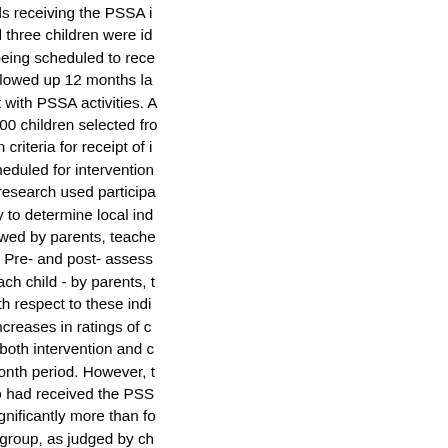those schools receiving the PSSA intervention. Five hundred and three children were identified in those schools as being scheduled to receive PSSA intervention and were followed up 12 months later to assess engagement with PSSA activities. A comparison group comprised 200 children selected from schools who met inclusion criteria for receipt of intervention but were not scheduled for intervention in that year. Preliminary research used participatory action research methodology to determine local indicators of well-being as viewed by parents, teachers and children respectively. Pre- and post- assessments were based on ratings for each child - by parents, teachers and the children - with respect to these indicators of well-being. Significant increases in ratings of child well-being were observed in both intervention and comparison groups over a 12-month period. However, the ratings for children who had received the PSSA intervention increased significantly more than for those in the comparison group, as judged by child (but parent and not teacher) report. This effect was found despite considerable loss-to-follow-up at post-assessment, particularly for parents and children.